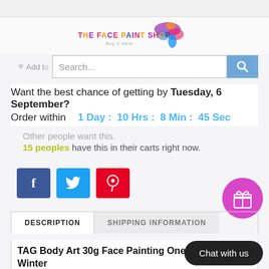[Figure (screenshot): Top navigation bar with search input and search button]
[Figure (logo): The Face Paint Shop logo with colorful splash graphic]
Add to (wishlist partial, cut off)
Want the best chance of getting by Tuesday, 6 September?
Order within   1 Day :  10 Hrs :  8 Min :  45 Sec
Other people want this.
15 peoples have this in their carts right now.
[Figure (infographic): Facebook, Twitter, and Pinterest share buttons]
[Figure (infographic): Pink circular gift/rewards button]
DESCRIPTION   SHIPPING INFORMATION
TAG Body Art 30g Face Painting One Stroke - Winter
Chat with us